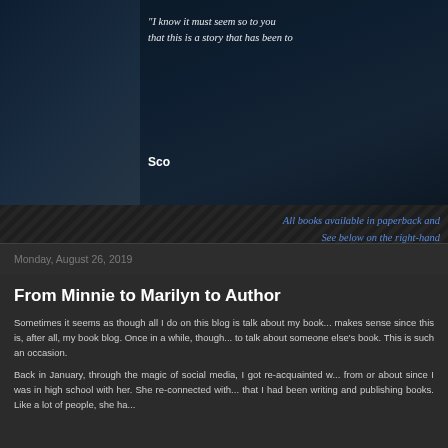[Figure (illustration): Dark blue/teal atmospheric book cover or banner image with a figure silhouette on the left half]
"I know it must seem so to you... that this is a story that has been to..."
Sco...
All books available in paperback and... See below on the right-hand...
Monday, August 26, 2019
From Minnie to Marilyn to Author
Sometimes it seems as though all I do on this blog is talk about my book... makes sense since this is, after all, my book blog. Once in a while, though... to talk about someone else's book. This is such an occasion.
Back in January, through the magic of social media, I got re-acquainted w... from or about since I was in high school with her. She re-connected with... that I had been writing and publishing books. Like a lot of people, she ha...